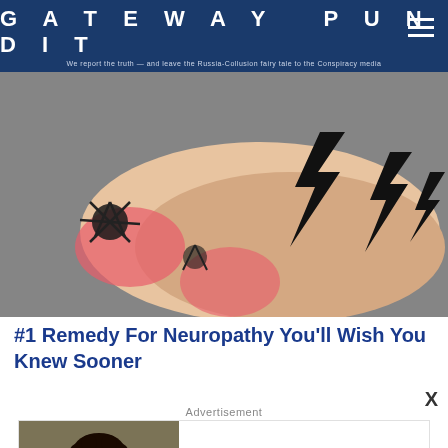GATEWAY PUNDIT
We report the truth — and leave the Russia-Collusion fairy tale to the Conspiracy media
[Figure (photo): Close-up photo of a foot/ankle with lightning bolt illustrations overlaid, suggesting neuropathy pain, on a gray fabric background]
#1 Remedy For Neuropathy You'll Wish You Knew Sooner
X
Advertisement
[Figure (photo): Advertisement image showing a woman with curly hair next to a car, with text 'Destiny's Body Does Give Her Leading Lady Energy!' and source 'Herbeauty']